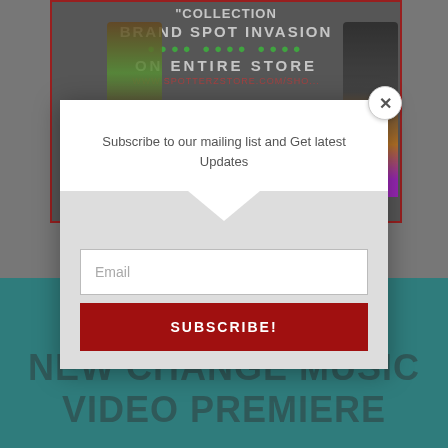[Figure (screenshot): Website screenshot showing a fashion/clothing store banner ad with text 'BRAND SPOT INVASION' and 'ON ENTIRE STORE' with two figures in outfits on left and right, a modal popup overlay with close button, subscribe to mailing list text, email input field, and SUBSCRIBE! button, and a teal section at the bottom with 'NEW CHANGE MUSIC VIDEO PREMIERE' text]
Subscribe to our mailing list and Get latest Updates
Email
SUBSCRIBE!
NEW CHANGE MUSIC VIDEO PREMIERE